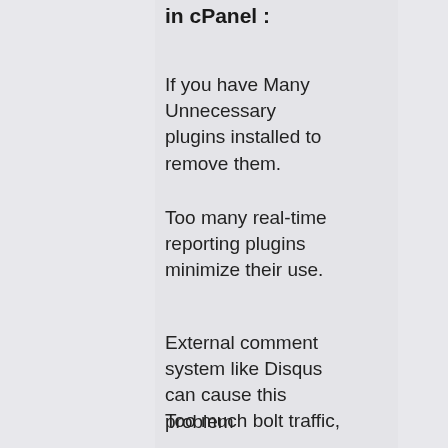in cPanel :
If you have Many Unnecessary plugins installed to remove them.
Too many real-time reporting plugins minimize their use.
External comment system like Disqus can cause this problem
Too much bolt traffic,